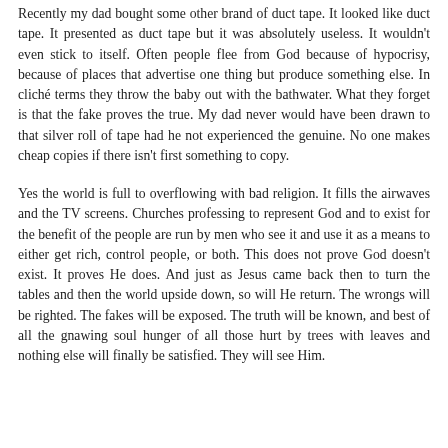Recently my dad bought some other brand of duct tape. It looked like duct tape. It presented as duct tape but it was absolutely useless. It wouldn't even stick to itself. Often people flee from God because of hypocrisy, because of places that advertise one thing but produce something else. In cliché terms they throw the baby out with the bathwater. What they forget is that the fake proves the true. My dad never would have been drawn to that silver roll of tape had he not experienced the genuine. No one makes cheap copies if there isn't first something to copy.
Yes the world is full to overflowing with bad religion. It fills the airwaves and the TV screens. Churches professing to represent God and to exist for the benefit of the people are run by men who see it and use it as a means to either get rich, control people, or both. This does not prove God doesn't exist. It proves He does. And just as Jesus came back then to turn the tables and then the world upside down, so will He return. The wrongs will be righted. The fakes will be exposed. The truth will be known, and best of all the gnawing soul hunger of all those hurt by trees with leaves and nothing else will finally be satisfied. They will see Him.